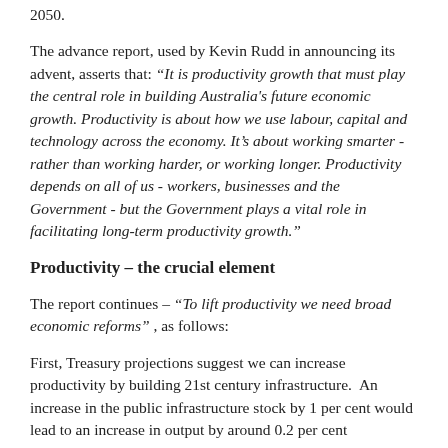2050.
The advance report, used by Kevin Rudd in announcing its advent, asserts that: “It is productivity growth that must play the central role in building Australia's future economic growth. Productivity is about how we use labour, capital and technology across the economy. It’s about working smarter - rather than working harder, or working longer. Productivity depends on all of us - workers, businesses and the Government - but the Government plays a vital role in facilitating long-term productivity growth.”
Productivity – the crucial element
The report continues – “To lift productivity we need broad economic reforms” , as follows:
First, Treasury projections suggest we can increase productivity by building 21st century infrastructure.  An increase in the public infrastructure stock by 1 per cent would lead to an increase in output by around 0.2 per cent